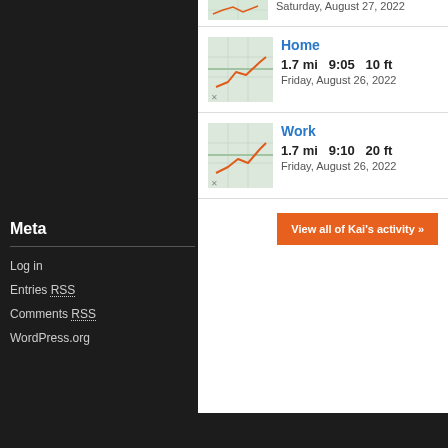Saturday, August 27, 2022
Home
1.7 mi  9:05  10 ft
Friday, August 26, 2022
Work
1.7 mi  9:10  20 ft
Friday, August 26, 2022
View all of Kai's activity »
Meta
Log in
Entries RSS
Comments RSS
WordPress.org